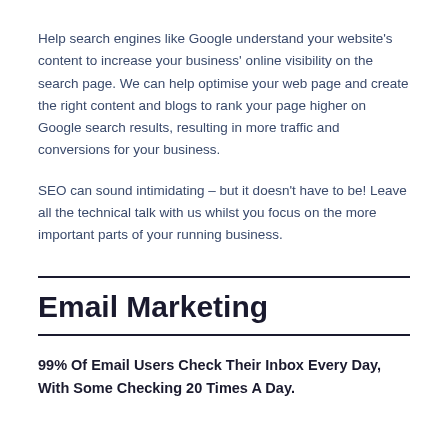Help search engines like Google understand your website's content to increase your business' online visibility on the search page. We can help optimise your web page and create the right content and blogs to rank your page higher on Google search results, resulting in more traffic and conversions for your business.
SEO can sound intimidating – but it doesn't have to be! Leave all the technical talk with us whilst you focus on the more important parts of your running business.
Email Marketing
99% Of Email Users Check Their Inbox Every Day, With Some Checking 20 Times A Day.